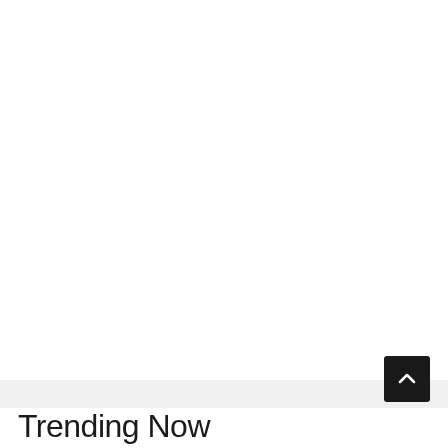[Figure (other): Scroll-to-top button: dark rounded square with upward chevron arrow icon, positioned near bottom-right of page over a light gray horizontal bar]
Trending Now